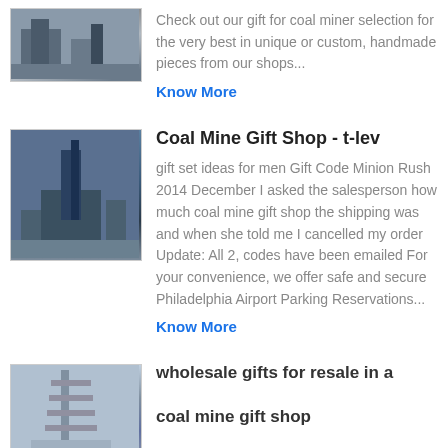Check out our gift for coal miner selection for the very best in unique or custom, handmade pieces from our shops...
Know More
Coal Mine Gift Shop - t-lev
gift set ideas for men Gift Code Minion Rush 2014 December I asked the salesperson how much coal mine gift shop the shipping was and when she told me I cancelled my order Update: All 2, codes have been emailed For your convenience, we offer safe and secure Philadelphia Airport Parking Reservations...
Know More
wholesale gifts for resale in a coal mine gift shop